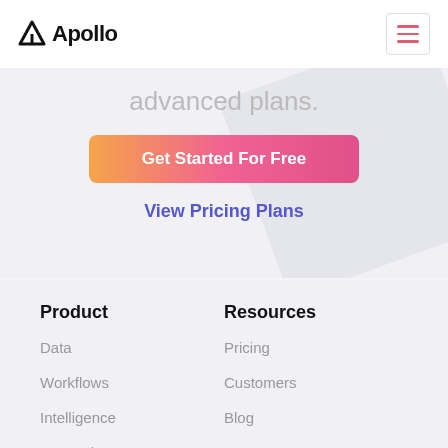Apollo
advanced plans.
Get Started For Free
View Pricing Plans
Product
Resources
Data
Pricing
Workflows
Customers
Intelligence
Blog
Integrations